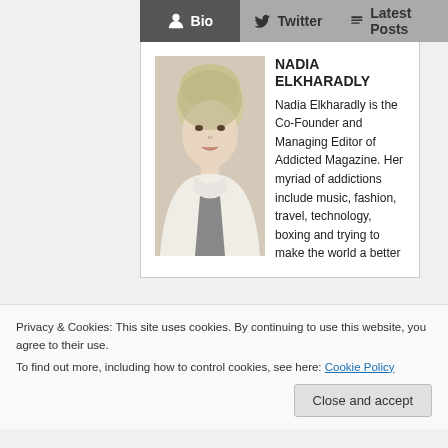Bio | Twitter | Latest Posts
NADIA ELKHARADLY
[Figure (photo): Headshot photo of Nadia Elkharadly, a woman with short blonde hair wearing a light-colored top]
Nadia Elkharadly is the Co-Founder and Managing Editor of Addicted Magazine. Her myriad of addictions include music, fashion, travel, technology, boxing and trying to make the world a better
Keep up with her on
Privacy & Cookies: This site uses cookies. By continuing to use this website, you agree to their use.
To find out more, including how to control cookies, see here: Cookie Policy
Close and accept